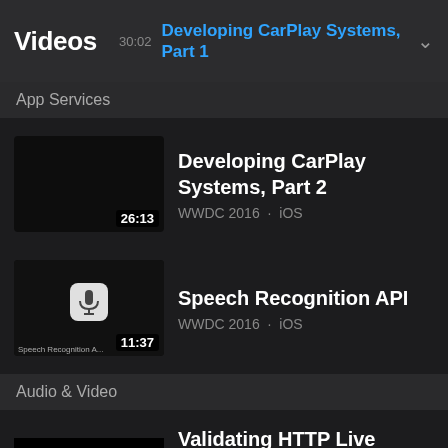Videos  30:02  Developing CarPlay Systems, Part 1
App Services
[Figure (screenshot): Thumbnail for Developing CarPlay Systems Part 2, duration 26:13]
Developing CarPlay Systems, Part 2
WWDC 2016 · iOS
[Figure (screenshot): Thumbnail for Speech Recognition API with microphone icon, duration 11:37]
Speech Recognition API
WWDC 2016 · iOS
Audio & Video
Validating HTTP Live Streams
WWDC 2016 · iOS  macOS  tvOS